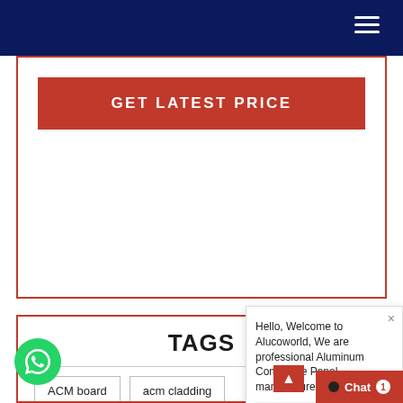Navigation bar with hamburger menu
GET LATEST PRICE
TAGS
ACM board
acm cladding
ACM fire protection
acm material
ACM materials
acm metal panel
acm metal panels
acm panel
Hello, Welcome to Alucoworld, We are professional Aluminum Composite Panel manufacturer in China
Write a
Could you please